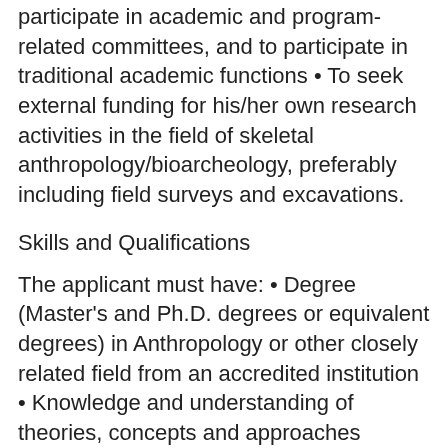participate in academic and program-related committees, and to participate in traditional academic functions • To seek external funding for his/her own research activities in the field of skeletal anthropology/bioarcheology, preferably including field surveys and excavations.
Skills and Qualifications
The applicant must have: • Degree (Master's and Ph.D. degrees or equivalent degrees) in Anthropology or other closely related field from an accredited institution • Knowledge and understanding of theories, concepts and approaches relevant to the field of evolutionary anthropology, physical/biological anthropology, paleoanthropology or bioarcheology. • Conceptual analytical and evaluative skills to conduct independent research and analysis in